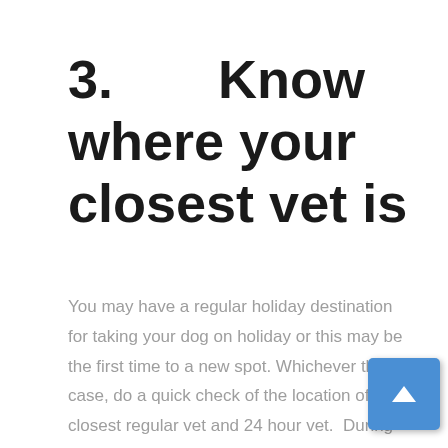3.      Know where your closest vet is
You may have a regular holiday destination for taking your dog on holiday or this may be the first time to a new spot. Whichever the case, do a quick check of the location of your closest regular vet and 24 hour vet.  During the holiday season, standard vets may have reduced operating hours so it's good to check this out as